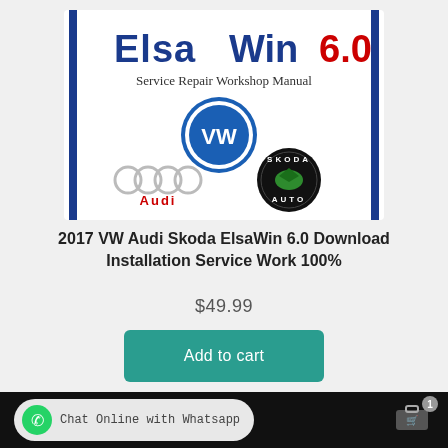[Figure (illustration): ElsaWin 6.0 Service Repair Workshop Manual product image showing VW, Audi, and Skoda logos]
2017 VW Audi Skoda ElsaWin 6.0 Download Installation Service Work 100%
$49.99
Add to cart
Chat Online with Whatsapp